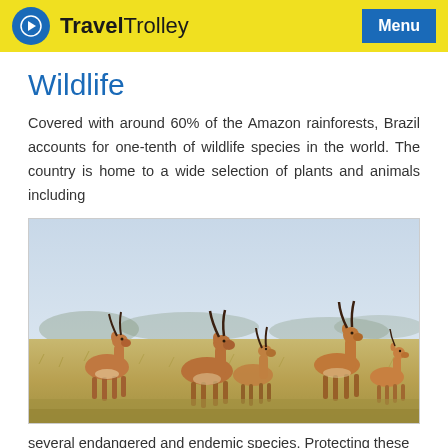Travel Trolley | Menu
Wildlife
Covered with around 60% of the Amazon rainforests, Brazil accounts for one-tenth of wildlife species in the world. The country is home to a wide selection of plants and animals including
[Figure (photo): A group of antelopes/impalas standing in an open savanna grassland with a blurred landscape background]
several endangered and endemic species. Protecting these